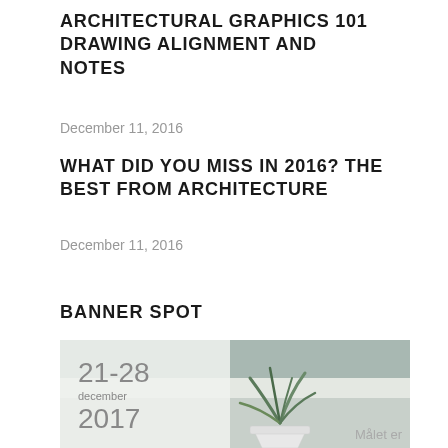ARCHITECTURAL GRAPHICS 101 DRAWING ALIGNMENT AND NOTES
December 11, 2016
WHAT DID YOU MISS IN 2016? THE BEST FROM ARCHITECTURE
December 11, 2016
BANNER SPOT
[Figure (photo): Banner image showing a decorative plant in a geometric white pot with text '21-28 december 2017' on the left side and 'Målet er' text visible at the bottom right. Background has horizontal color bands in grey-green tones.]